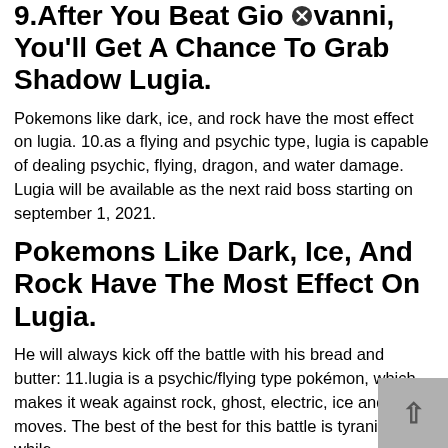9.After You Beat Giovanni, You'll Get A Chance To Grab Shadow Lugia.
Pokemons like dark, ice, and rock have the most effect on lugia. 10.as a flying and psychic type, lugia is capable of dealing psychic, flying, dragon, and water damage. Lugia will be available as the next raid boss starting on september 1, 2021.
Pokemons Like Dark, Ice, And Rock Have The Most Effect On Lugia.
He will always kick off the battle with his bread and butter: 11.lugia is a psychic/flying type pokémon, which makes it weak against rock, ghost, electric, ice and dark moves. The best of the best for this battle is tyranitar, while.
We Show A Team That Can Beat